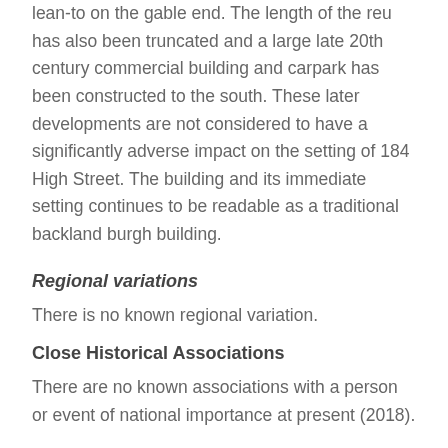lean-to on the gable end. The length of the reu has also been truncated and a large late 20th century commercial building and carpark has been constructed to the south. These later developments are not considered to have a significantly adverse impact on the setting of 184 High Street. The building and its immediate setting continues to be readable as a traditional backland burgh building.
Regional variations
There is no known regional variation.
Close Historical Associations
There are no known associations with a person or event of national importance at present (2018).
Statutory address and listed building record revised in 2018. Previously listed as '184A,B,C High